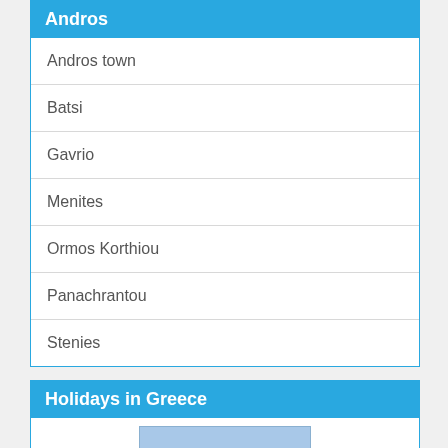Andros
Andros town
Batsi
Gavrio
Menites
Ormos Korthiou
Panachrantou
Stenies
Holidays in Greece
[Figure (illustration): Book cover showing 'GREECE' text on a light blue background]